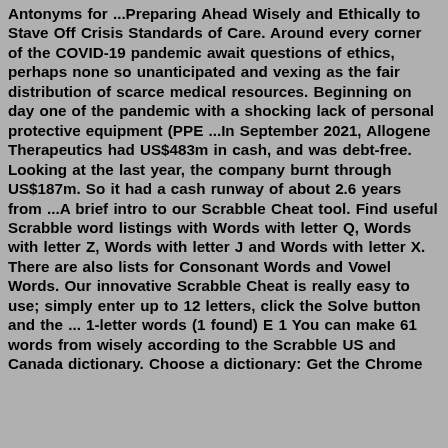Antonyms for ...Preparing Ahead Wisely and Ethically to Stave Off Crisis Standards of Care. Around every corner of the COVID-19 pandemic await questions of ethics, perhaps none so unanticipated and vexing as the fair distribution of scarce medical resources. Beginning on day one of the pandemic with a shocking lack of personal protective equipment (PPE ...In September 2021, Allogene Therapeutics had US$483m in cash, and was debt-free. Looking at the last year, the company burnt through US$187m. So it had a cash runway of about 2.6 years from ...A brief intro to our Scrabble Cheat tool. Find useful Scrabble word listings with Words with letter Q, Words with letter Z, Words with letter J and Words with letter X. There are also lists for Consonant Words and Vowel Words. Our innovative Scrabble Cheat is really easy to use; simply enter up to 12 letters, click the Solve button and the ... 1-letter words (1 found) E 1 You can make 61 words from wisely according to the Scrabble US and Canada dictionary. Choose a dictionary: Get the Chrome